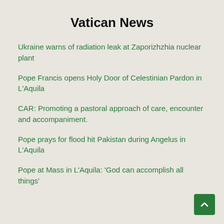Vatican News
Ukraine warns of radiation leak at Zaporizhzhia nuclear plant
Pope Francis opens Holy Door of Celestinian Pardon in L'Aquila
CAR: Promoting a pastoral approach of care, encounter and accompaniment.
Pope prays for flood hit Pakistan during Angelus in L'Aquila
Pope at Mass in L'Aquila: 'God can accomplish all things'